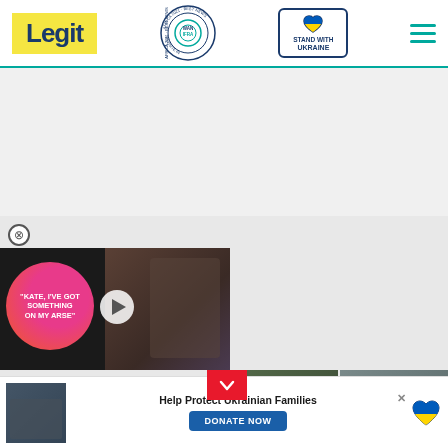[Figure (logo): Legit.ng website header with Legit logo (yellow background, dark blue text), WAN-IFRA Best News Website in Africa 2021 badge, Stand with Ukraine badge with heart icon, and hamburger menu icon]
[Figure (photo): Video player overlay showing two people (man and woman), with pink/orange circular overlay text reading KATE, I'VE GOT SOMETHING ON MY ARSE, and a play button]
[Figure (photo): Thumbnail images at bottom of video area showing news story photos]
[Figure (infographic): Donate banner: Help Protect Ukrainian Families with DONATE NOW button and Ukraine heart flag icon]